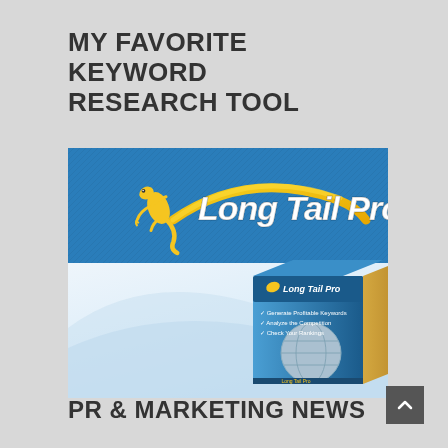MY FAVORITE KEYWORD RESEARCH TOOL
[Figure (logo): Long Tail Pro software product image showing logo with gecko lizard and gold swoosh on blue background, with a software box below showing the product name, globe graphic, and features list.]
PR & MARKETING NEWS